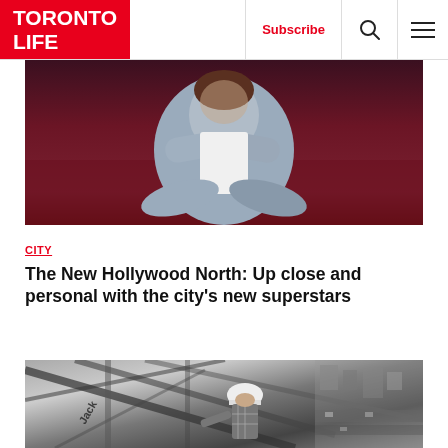Toronto Life — Subscribe | Search | Menu
[Figure (photo): Person in grey/blue clothing sitting cross-legged on a dark red background, holding what appears to be a white card or book, face obscured]
CITY
The New Hollywood North: Up close and personal with the city's new superstars
[Figure (photo): Black and white photo of a construction worker wearing a hard hat on a film set or construction scaffold, with an aerial view of a city street below]